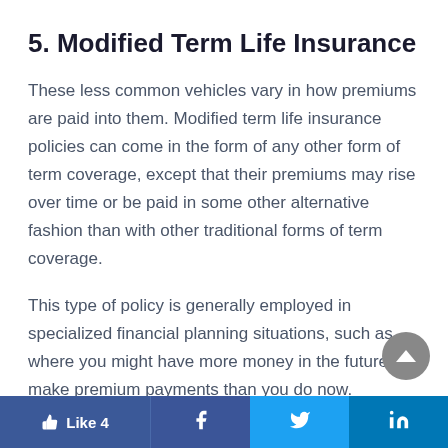5. Modified Term Life Insurance
These less common vehicles vary in how premiums are paid into them. Modified term life insurance policies can come in the form of any other form of term coverage, except that their premiums may rise over time or be paid in some other alternative fashion than with other traditional forms of term coverage.
This type of policy is generally employed in specialized financial planning situations, such as where you might have more money in the future to make premium payments than you do now.
Like 4  [Facebook]  [Twitter]  [LinkedIn]